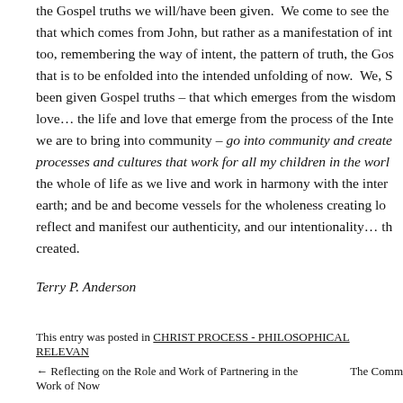the Gospel truths we will/have been given. We come to see the that which comes from John, but rather as a manifestation of int too, remembering the way of intent, the pattern of truth, the Gos that is to be enfolded into the intended unfolding of now. We, S been given Gospel truths – that which emerges from the wisdom love… the life and love that emerge from the process of the Inte we are to bring into community – go into community and create processes and cultures that work for all my children in the worl the whole of life as we live and work in harmony with the inter earth; and be and become vessels for the wholeness creating lo reflect and manifest our authenticity, and our intentionality… th created.
Terry P. Anderson
This entry was posted in CHRIST PROCESS - PHILOSOPHICAL RELEVANCE
← Reflecting on the Role and Work of Partnering in the Work of Now    The Comm